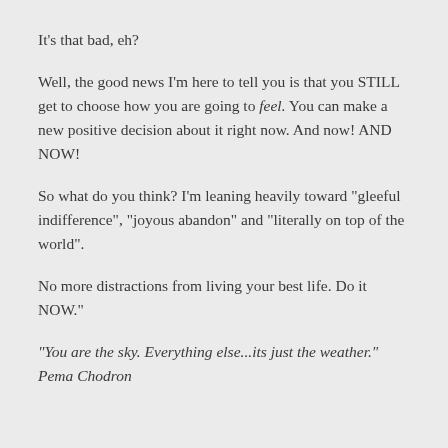It's that bad, eh?
Well, the good news I'm here to tell you is that you STILL get to choose how you are going to feel. You can make a new positive decision about it right now. And now! AND NOW!
So what do you think? I'm leaning heavily toward "gleeful indifference", "joyous abandon" and "literally on top of the world".
No more distractions from living your best life. Do it NOW."
"You are the sky. Everything else...its just the weather." Pema Chodron